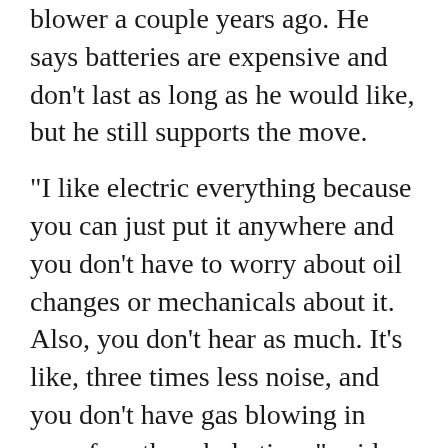landscaping, started using an electric leaf blower a couple years ago. He says batteries are expensive and don't last as long as he would like, but he still supports the move.
"I like electric everything because you can just put it anywhere and you don't have to worry about oil changes or mechanicals about it. Also, you don't hear as much. It's like, three times less noise, and you don't have gas blowing in your face the whole time," said Ruggles.
"All around it's just a better way of doing things."
Oak Bay's mayor acknowledges there are challenges with battery power and cost, but he says councilors voted on a three-year phase out period with hopes that the technology will catch up with demand.